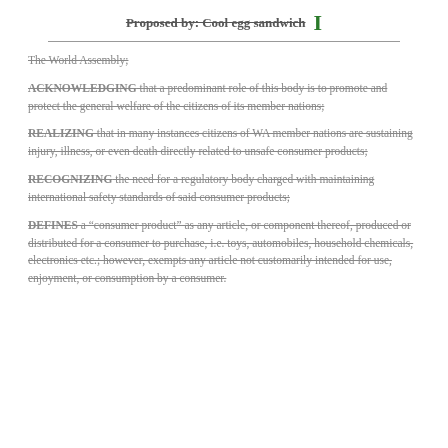Proposed by: Cool egg sandwich I
The World Assembly;
ACKNOWLEDGING that a predominant role of this body is to promote and protect the general welfare of the citizens of its member nations;
REALIZING that in many instances citizens of WA member nations are sustaining injury, illness, or even death directly related to unsafe consumer products;
RECOGNIZING the need for a regulatory body charged with maintaining international safety standards of said consumer products;
DEFINES a "consumer product" as any article, or component thereof, produced or distributed for a consumer to purchase, i.e. toys, automobiles, household chemicals, electronics etc.; however, exempts any article not customarily intended for use, enjoyment, or consumption by a consumer.